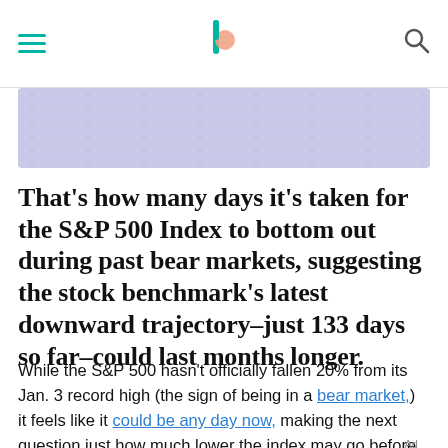Barron's — navigation header with hamburger menu, logo, and search icon
[Figure (other): Advertisement banner with lavender/periwinkle dotted background pattern]
That's how many days it's taken for the S&P 500 Index to bottom out during past bear markets, suggesting the stock benchmark's latest downward trajectory–just 133 days so far–could last months longer.
While the S&P 500 hasn't officially fallen 20% from its Jan. 3 record high (the sign of being in a bear market,) it feels like it could be any day now, making the next question just how much lower the index may go before